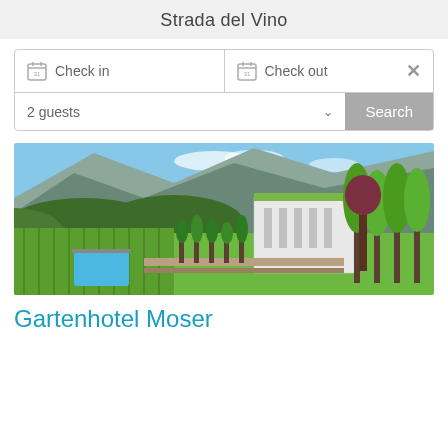Strada del Vino
[Figure (screenshot): Hotel booking search widget with Check in, Check out date fields and 2 guests selector with Search button]
[Figure (photo): Aerial/elevated view of Gartenhotel Moser surrounded by vineyards and gardens with mountains in background]
Gartenhotel Moser